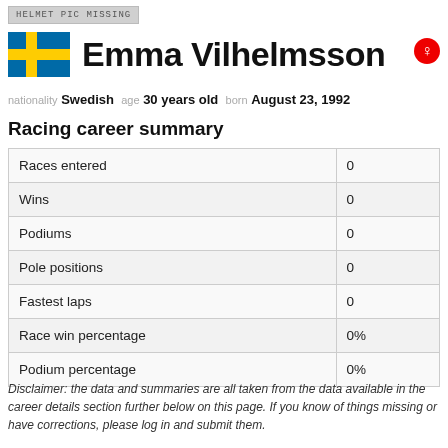[Figure (other): Placeholder box reading HELMET PIC MISSING]
Emma Vilhelmsson
[Figure (illustration): Swedish flag icon]
[Figure (illustration): Female gender symbol icon (red circle with cross)]
nationality Swedish age 30 years old born August 23, 1992
Racing career summary
|  |  |
| --- | --- |
| Races entered | 0 |
| Wins | 0 |
| Podiums | 0 |
| Pole positions | 0 |
| Fastest laps | 0 |
| Race win percentage | 0% |
| Podium percentage | 0% |
Disclaimer: the data and summaries are all taken from the data available in the career details section further below on this page. If you know of things missing or have corrections, please log in and submit them.